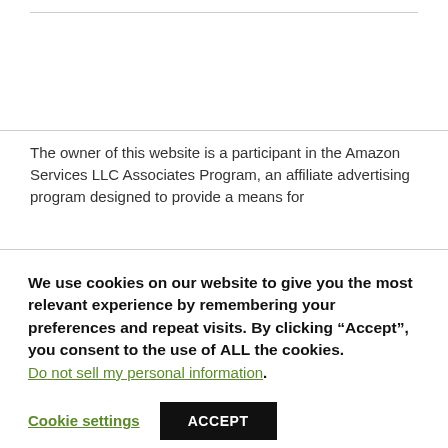The owner of this website is a participant in the Amazon Services LLC Associates Program, an affiliate advertising program designed to provide a means for
We use cookies on our website to give you the most relevant experience by remembering your preferences and repeat visits. By clicking “Accept”, you consent to the use of ALL the cookies. Do not sell my personal information.
Cookie settings
ACCEPT